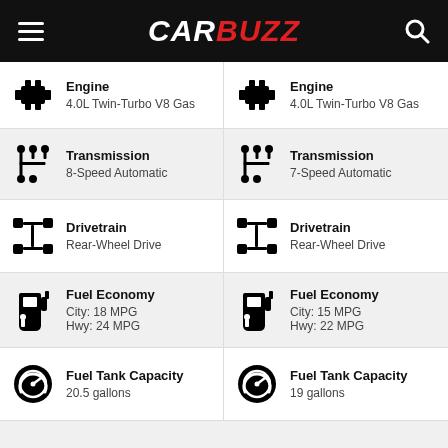CARBUZZ
| Car 1 | Car 2 |
| --- | --- |
| Engine
4.0L Twin-Turbo V8 Gas | Engine
4.0L Twin-Turbo V8 Gas |
| Transmission
8-Speed Automatic | Transmission
7-Speed Automatic |
| Drivetrain
Rear-Wheel Drive | Drivetrain
Rear-Wheel Drive |
| Fuel Economy
City: 18 MPG
Hwy: 24 MPG | Fuel Economy
City: 15 MPG
Hwy: 22 MPG |
| Fuel Tank Capacity
20.5 gallons | Fuel Tank Capacity
19 gallons |